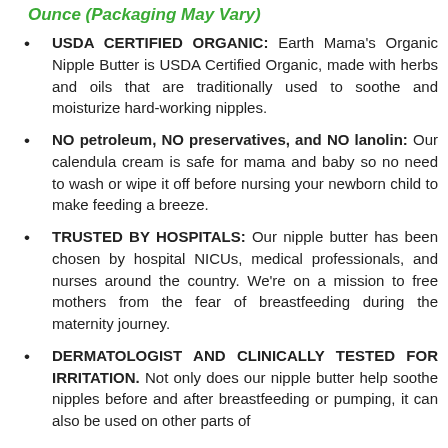Ounce (Packaging May Vary)
USDA CERTIFIED ORGANIC: Earth Mama's Organic Nipple Butter is USDA Certified Organic, made with herbs and oils that are traditionally used to soothe and moisturize hard-working nipples.
NO petroleum, NO preservatives, and NO lanolin: Our calendula cream is safe for mama and baby so no need to wash or wipe it off before nursing your newborn child to make feeding a breeze.
TRUSTED BY HOSPITALS: Our nipple butter has been chosen by hospital NICUs, medical professionals, and nurses around the country. We're on a mission to free mothers from the fear of breastfeeding during the maternity journey.
DERMATOLOGIST AND CLINICALLY TESTED FOR IRRITATION. Not only does our nipple butter help soothe nipples before and after breastfeeding or pumping, it can also be used on other parts of